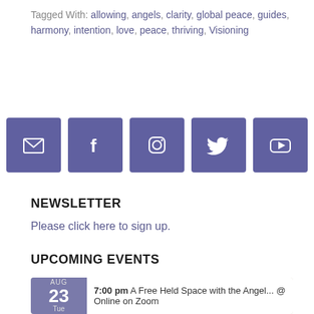Tagged With: allowing, angels, clarity, global peace, guides, harmony, intention, love, peace, thriving, Visioning
[Figure (infographic): Row of five purple square social media icon buttons: email (envelope), Facebook (f), Instagram (camera), Twitter (bird), YouTube (play button)]
NEWSLETTER
Please click here to sign up.
UPCOMING EVENTS
AUG 23 Tue — 7:00 pm A Free Held Space with the Angel... @ Online on Zoom